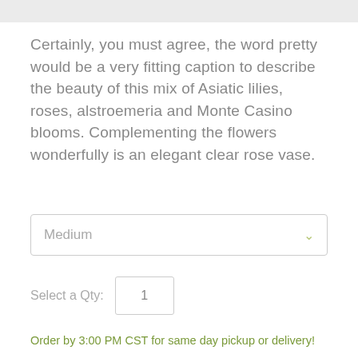Certainly, you must agree, the word pretty would be a very fitting caption to describe the beauty of this mix of Asiatic lilies, roses, alstroemeria and Monte Casino blooms. Complementing the flowers wonderfully is an elegant clear rose vase.
Medium
Select a Qty: 1
Order by 3:00 PM CST for same day pickup or delivery!